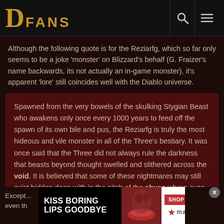DFANS
Although the following quote is for the Reziarfg, which so far only seems to be a joke 'monster' on Blizzard's behalf (G. Fraizer's name backwards, its not actually an in-game monster), it's apparent 'lore' still coincides well with the Diablo universe.
Spawned from the very bowels of the skulking Stygian Beast who awakens only once every 1000 years to feed off the spawn of its own bile and pus, the Reziarfg is truly the most hideous and vile monster in all of the Three's bestiary. It was once said that the Three did not always rule the darkness that beasts beyond thought swelled and slithered across the void. It is believed that some of these nightmares may still exist hidden deep with in the pitch of the abyss where even the darkness of the upper realms of hell seems like day. This is where Reziarfg lives.
Except... don't even th... him.
[Figure (screenshot): Advertisement banner: KISS BORING LIPS GOODBYE - SHOP NOW - macy's]